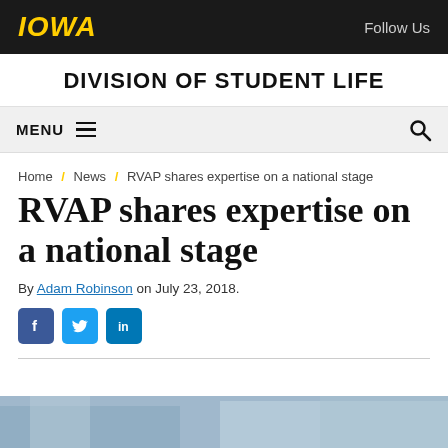IOWA | Follow Us
DIVISION OF STUDENT LIFE
MENU
Home / News / RVAP shares expertise on a national stage
RVAP shares expertise on a national stage
By Adam Robinson on July 23, 2018.
[Figure (other): Social media share icons: Facebook, Twitter, LinkedIn]
[Figure (photo): Partial photo at bottom of page, appears to show a building exterior]